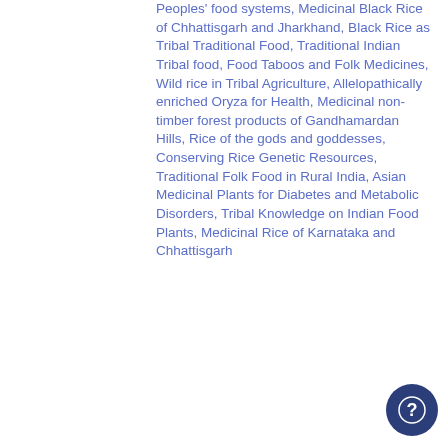Peoples' food systems, Medicinal Black Rice of Chhattisgarh and Jharkhand, Black Rice as Tribal Traditional Food, Traditional Indian Tribal food, Food Taboos and Folk Medicines, Wild rice in Tribal Agriculture, Allelopathically enriched Oryza for Health, Medicinal non-timber forest products of Gandhamardan Hills, Rice of the gods and goddesses, Conserving Rice Genetic Resources, Traditional Folk Food in Rural India, Asian Medicinal Plants for Diabetes and Metabolic Disorders, Tribal Knowledge on Indian Food Plants, Medicinal Rice of Karnataka and Chhattisgarh